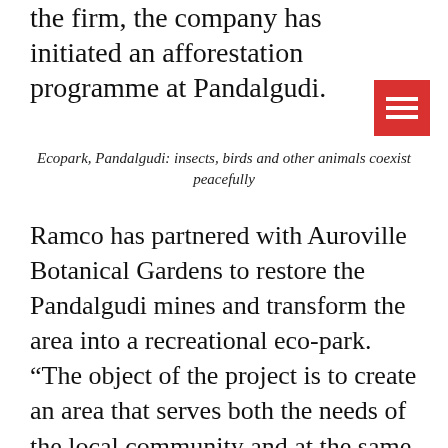the firm, the company has initiated an afforestation programme at Pandalgudi.
[Figure (other): Red hamburger menu icon with three white horizontal lines]
Ecopark, Pandalgudi: insects, birds and other animals coexist peacefully
Ramco has partnered with Auroville Botanical Gardens to restore the Pandalgudi mines and transform the area into a recreational eco-park. “The object of the project is to create an area that serves both the needs of the local community and at the same time provides a habitat for the flora and fauna of the region spread across 260 acres,” says Ramco chairman PRV Raja. He and his wife are fully involved in this transformation to make it a perfect